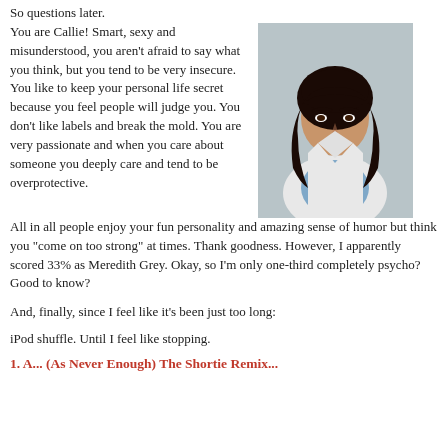So questions later.
You are Callie! Smart, sexy and misunderstood, you aren't afraid to say what you think, but you tend to be very insecure. You like to keep your personal life secret because you feel people will judge you. You don't like labels and break the mold. You are very passionate and when you care about someone you deeply care and tend to be overprotective. All in all people enjoy your fun personality and amazing sense of humor but think you "come on too strong" at times. Thank goodness. However, I apparently scored 33% as Meredith Grey. Okay, so I'm only one-third completely psycho? Good to know?
[Figure (photo): Woman with dark wavy hair wearing a white lab coat over a blue scrub top, smiling at the camera — a character from Grey's Anatomy (Callie Torres)]
And, finally, since I feel like it's been just too long:
iPod shuffle. Until I feel like stopping.
1. A... (As Never Enough) The Shortie Remix...